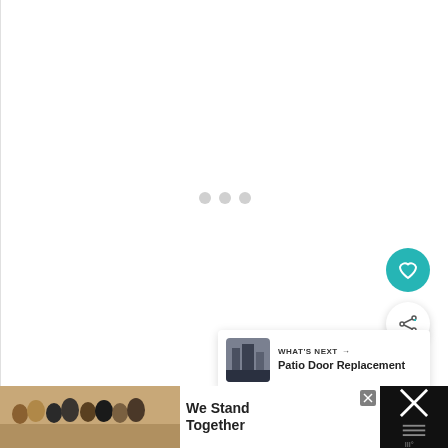[Figure (screenshot): Web page loading state with animated dots indicator in center of white content area]
[Figure (illustration): Teal circular FAB button with white heart icon (favorite/like button)]
[Figure (illustration): White circular FAB button with share icon]
[Figure (screenshot): What's Next card showing Patio Door Replacement with building thumbnail image]
[Figure (screenshot): Bottom advertisement banner showing people hugging with text We Stand Together and close button, plus dark right section with X icon]